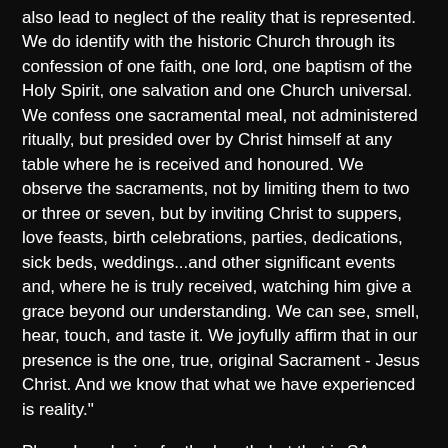also lead to neglect of the reality that is represented. We do identify with the historic Church through its confession of one faith, one lord, one baptism of the Holy Spirit, one salvation and one Church universal. We confess one sacramental meal, not administered ritually, but presided over by Christ himself at any table where he is received and honoured. We observe the sacraments, not by limiting them to two or three or seven, but by inviting Christ to suppers, love feasts, birth celebrations, parties, dedications, sick beds, weddings...and other significant events and, where he is truly received, watching him give a grace beyond our understanding. We can see, smell, hear, touch, and taste it. We joyfully affirm that in our presence is the one, true, original Sacrament - Jesus Christ. And we know that what we have experienced is reality."
Phew. I apologise for the length, but that is SA baptismal theology in a nutshell. It would be really great for me to hear what you make of this, as an outside observer. I can't come out in